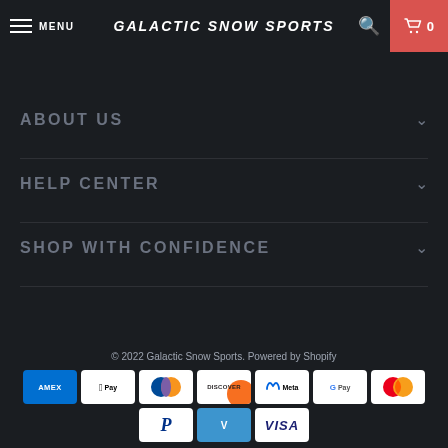MENU | GALACTIC SNOW SPORTS | 0
ABOUT US
HELP CENTER
SHOP WITH CONFIDENCE
© 2022 Galactic Snow Sports. Powered by Shopify
[Figure (other): Payment method icons: American Express, Apple Pay, Diners Club, Discover, Meta Pay, Google Pay, Mastercard, PayPal, Venmo, Visa]